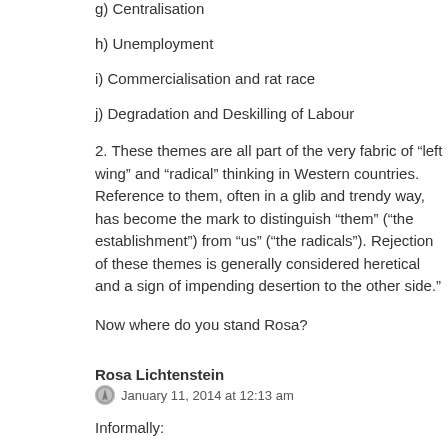g) Centralisation
h) Unemployment
i) Commercialisation and rat race
j) Degradation and Deskilling of Labour
2. These themes are all part of the very fabric of “left wing” and “radical” thinking in Western countries. Reference to them, often in a glib and trendy way, has become the mark to distinguish “them” (“the establishment”) from “us” (“the radicals”). Rejection of these themes is generally considered heretical and a sign of impending desertion to the other side.”
Now where do you stand Rosa?
Rosa Lichtenstein
January 11, 2014 at 12:13 am
Informally:
“DM-theorists do not ‘claim that all objects/processes change because of
(1) A contradictory relationship and struggle between their internal opposites,